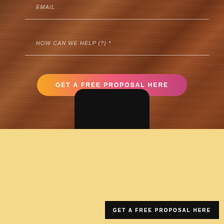[Figure (screenshot): Web form on wood-texture background with email field and 'HOW CAN WE HELP (?)' label, and a gradient orange-to-pink pill-shaped CTA button 'GET A FREE PROPOSAL HERE', with black phone device silhouette at bottom]
EMAIL
HOW CAN WE HELP (?) *
GET A FREE PROPOSAL HERE
[Figure (photo): Asian man with glasses, arms crossed, wearing light blue shirt, standing against cream/tan background]
WE HAVE AN IDEA TO IMPROVE YOUR BUSINESS
NAME *
CONTACT *
EMAIL *
HOW CAN WE HELP (?) *
GET A FREE PROPOSAL HERE